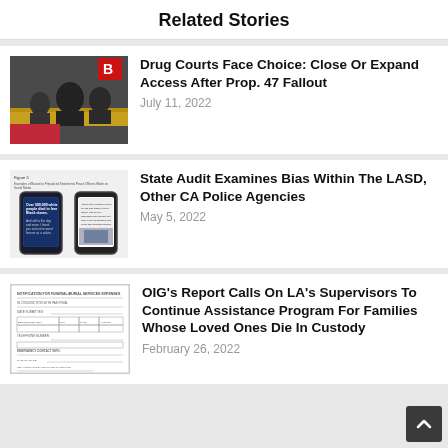Related Stories
[Figure (photo): Photo of people in a courtroom or meeting setting with yellow desk]
Drug Courts Face Choice: Close Or Expand Access After Prop. 47 Fallout
July 11, 2022
[Figure (screenshot): Screenshot of Figure 5 document showing social media posts on phone screens about bias statements]
State Audit Examines Bias Within The LASD, Other CA Police Agencies
May 5, 2022
[Figure (screenshot): Screenshot of a form document related to funeral/burial services expenses]
OIG's Report Calls On LA's Supervisors To Continue Assistance Program For Families Whose Loved Ones Die In Custody
February 26, 2022